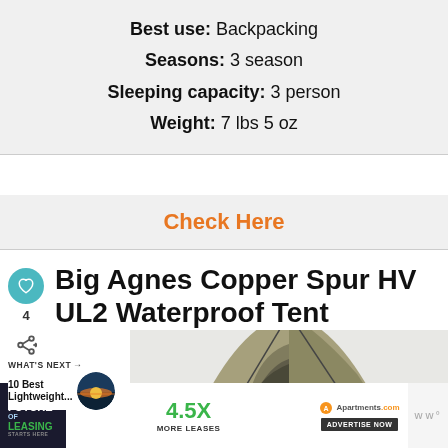Best use: Backpacking
Seasons: 3 season
Sleeping capacity: 3 person
Weight: 7 lbs 5 oz
Check Here
Big Agnes Copper Spur HV UL2 Waterproof Tent
[Figure (photo): Photo of a Big Agnes Copper Spur HV UL2 tent, olive/khaki color, dome style with poles visible]
WHAT'S NEXT → 10 Best Lightweight...
[Figure (photo): Circular thumbnail image of a sunset over water]
[Figure (screenshot): Advertisement banner: THE FUTURE OF LEASING - 4.5X MORE LEASES - Apartments.com - ADVERTISE NOW]